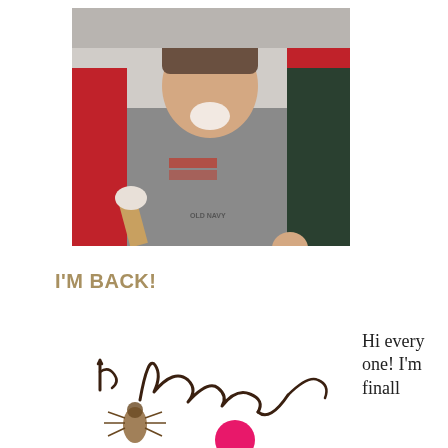[Figure (photo): A young boy with ice cream on his face, wearing a grey Old Navy American flag t-shirt, holding an ice cream cone, standing in front of red chairs.]
I'M BACK!
[Figure (photo): Handwritten text reading 'I'm back' with decorative elements including what appears to be a bug/insect and a pink circle at the bottom.]
Hi every one! I'm finall